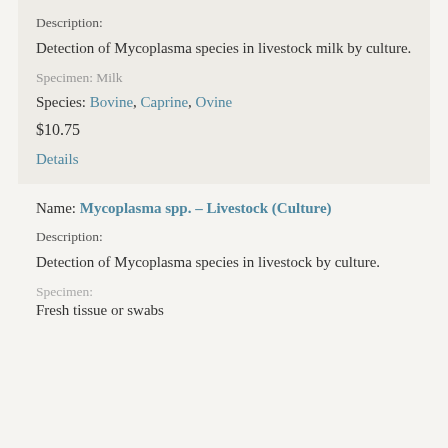Description:
Detection of Mycoplasma species in livestock milk by culture.
Specimen: Milk
Species: Bovine, Caprine, Ovine
$10.75
Details
Name: Mycoplasma spp. – Livestock (Culture)
Description:
Detection of Mycoplasma species in livestock by culture.
Specimen:
Fresh tissue or swabs